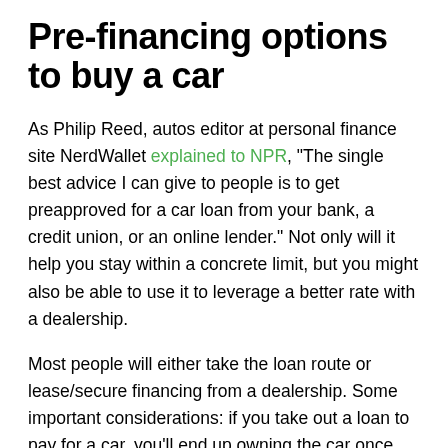Pre-financing options to buy a car
As Philip Reed, autos editor at personal finance site NerdWallet explained to NPR, "The single best advice I can give to people is to get preapproved for a car loan from your bank, a credit union, or an online lender." Not only will it help you stay within a concrete limit, but you might also be able to use it to leverage a better rate with a dealership.
Most people will either take the loan route or lease/secure financing from a dealership. Some important considerations: if you take out a loan to pay for a car, you'll end up owning the car once your loan is paid up. Alternatively, if you've saved up enough to purchase it outright, it's yours right away. If you opt to